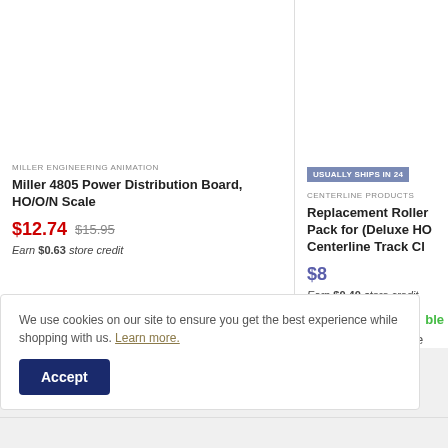MILLER ENGINEERING ANIMATION
Miller 4805 Power Distribution Board, HO/O/N Scale
$12.74  $15.95
Earn $0.63 store credit
USUALLY SHIPS IN 24
CENTERLINE PRODUCTS
Replacement Roller Pack for (Deluxe HO Centerline Track Cl
$8
Earn $0.40 store credit
We use cookies on our site to ensure you get the best experience while shopping with us. Learn more.
Accept